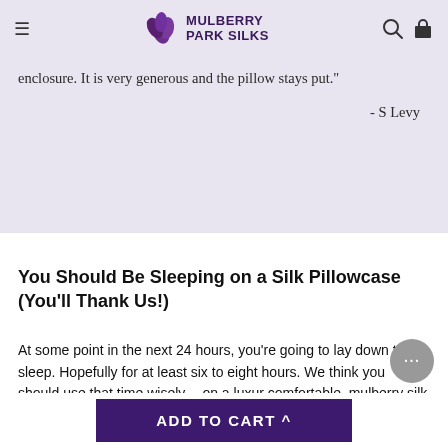Mulberry Park Silks
enclosure. It is very generous and the pillow stays put."
- S Levy
You Should Be Sleeping on a Silk Pillowcase (You'll Thank Us!)
At some point in the next 24 hours, you're going to lay down to sleep. Hopefully for at least six to eight hours. We think you should use that time wisely -- on a luxur comfortable, mulberry silk pillowcase that is great r